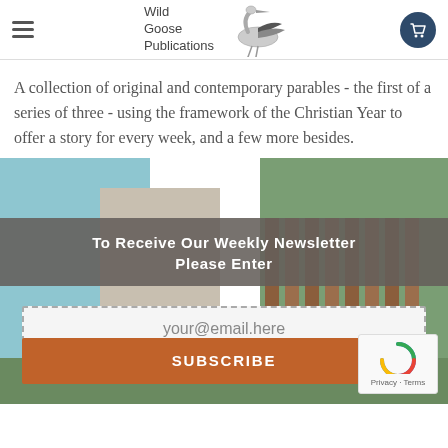[Figure (logo): Wild Goose Publications logo with heron/goose bird illustration and text]
A collection of original and contemporary parables - the first of a series of three - using the framework of the Christian Year to offer a story for every week, and a few more besides.
[Figure (infographic): Newsletter subscription section with background landscape photo, gray banner reading 'To Receive Our Weekly Newsletter Please Enter', email input field showing 'your@email.here', and orange Subscribe button]